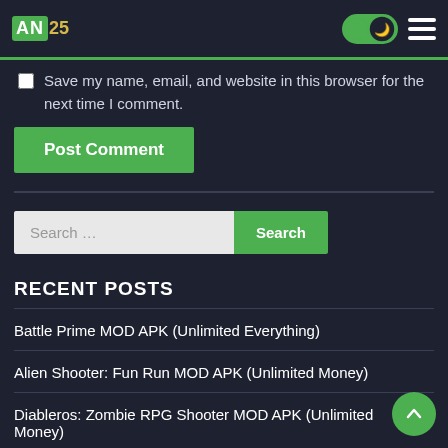AN25 [logo] [dark mode toggle] [menu]
Save my name, email, and website in this browser for the next time I comment.
Post Comment
Search …
RECENT POSTS
Battle Prime MOD APK (Unlimited Everything)
Alien Shooter: Fun Run MOD APK (Unlimited Money)
Diableros: Zombie RPG Shooter MOD APK (Unlimited Money)
Faraway: Puzzle Escape MOD APK (Unlock)